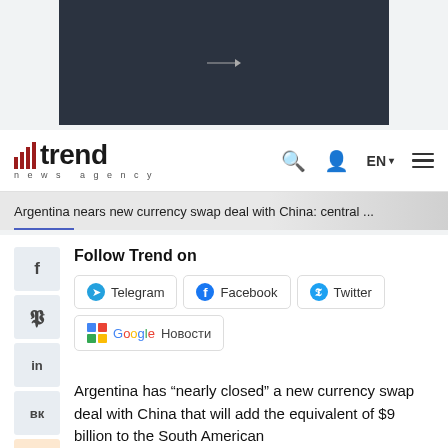[Figure (screenshot): Dark video player banner with a small play icon in the center]
trend news agency — EN — navigation icons
Argentina nears new currency swap deal with China: central ...
Follow Trend on
Telegram  Facebook  Twitter  Google Новости
Argentina has “nearly closed” a new currency swap deal with China that will add the equivalent of $9 billion to the South American